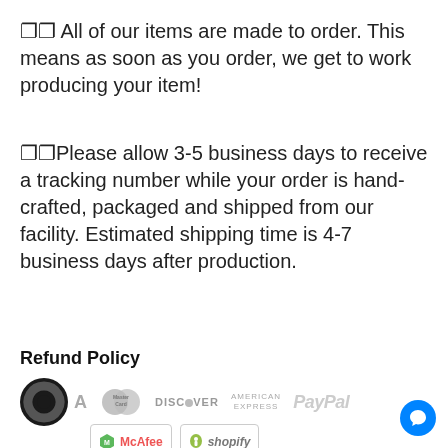🔲 All of our items are made to order. This means as soon as you order, we get to work producing your item!
🔲Please allow 3-5 business days to receive a tracking number while your order is hand-crafted, packaged and shipped from our facility. Estimated shipping time is 4-7 business days after production.
Refund Policy
[Figure (logo): Payment method logos: dark circle logo, MasterCard, Discover, American Express, PayPal, McAfee, Shopify]